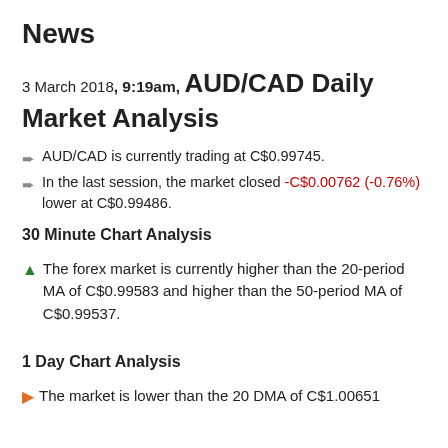News
3 March 2018, 9:19am, AUD/CAD Daily Market Analysis
AUD/CAD is currently trading at C$0.99745.
In the last session, the market closed -C$0.00762 (-0.76%) lower at C$0.99486.
30 Minute Chart Analysis
The forex market is currently higher than the 20-period MA of C$0.99583 and higher than the 50-period MA of C$0.99537.
1 Day Chart Analysis
The market is lower than the 20 DMA of C$1.00651